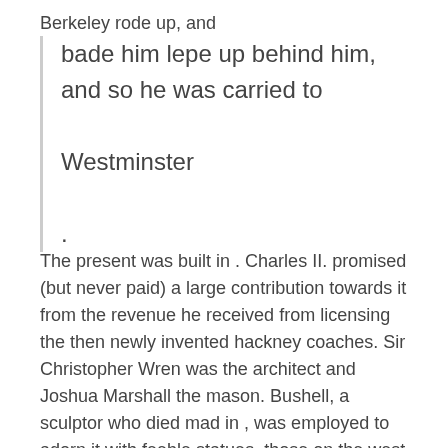Berkeley rode up, and
bade him lepe up behind him, and so he was carried to Westminster .
The present was built in . Charles II. promised (but never paid) a large contribution towards it from the revenue he received from licensing the then newly invented hackney coaches. Sir Christopher Wren was the architect and Joshua Marshall the mason. Bushell, a sculptor who died mad in , was employed to adorn it with feeble statues, those on the west representing Charles I. and Charles II., those on the east